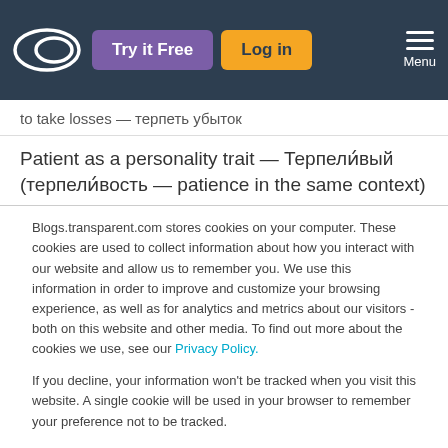Try it Free | Log in | Menu
to take losses — терпеть убыток
Patient as a personality trait — Терпели́вый (терпели́вость — patience in the same context)
Blogs.transparent.com stores cookies on your computer. These cookies are used to collect information about how you interact with our website and allow us to remember you. We use this information in order to improve and customize your browsing experience, as well as for analytics and metrics about our visitors - both on this website and other media. To find out more about the cookies we use, see our Privacy Policy.
If you decline, your information won't be tracked when you visit this website. A single cookie will be used in your browser to remember your preference not to be tracked.